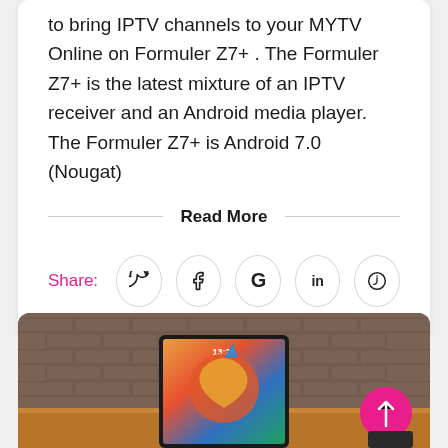to bring IPTV channels to your MYTV Online on Formuler Z7+. The Formuler Z7+ is the latest mixture of an IPTV receiver and an Android media player. The Formuler Z7+ is Android 7.0 (Nougat)
Read More
Share:
[Figure (photo): A tablet device showing a colorful screen with a bird illustration, placed on a wooden surface against a brick wall background. A pink circular back-to-top button with an upward arrow is visible in the bottom right.]